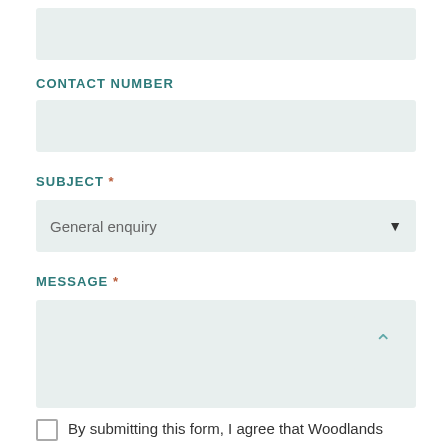[Figure (screenshot): Empty input field (top of page, contact form field, light teal background)]
CONTACT NUMBER
[Figure (screenshot): Empty input field for contact number, light teal background]
SUBJECT *
[Figure (screenshot): Dropdown select field showing 'General enquiry' with down arrow, light teal background]
MESSAGE *
[Figure (screenshot): Large empty textarea for message, light teal background, with scroll-to-top button in bottom right]
By submitting this form, I agree that Woodlands